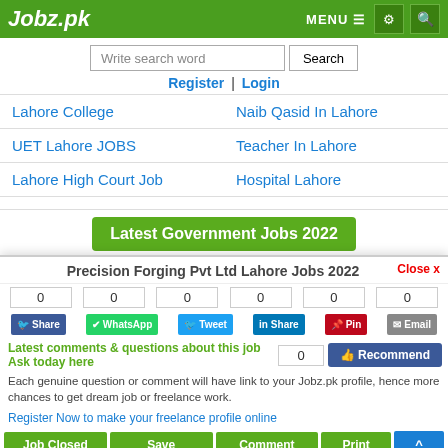Jobz.pk
Write search word | Search
Register | Login
Lahore College
Naib Qasid In Lahore
UET Lahore JOBS
Teacher In Lahore
Lahore High Court Job
Hospital Lahore
Latest Government Jobs 2022
Federal  Punjab  Sindh  KPK  Balochistan  AJK
Precision Forging Pvt Ltd Lahore Jobs 2022
0  0  0  0  0  0
Share  WhatsApp  Tweet  Share  Pin  Email
Latest comments & questions about this job
Ask today here
0  Recommend
Each genuine question or comment will have link to your Jobz.pk profile, hence more chances to get dream job or freelance work.
Register Now to make your freelance profile online
Job Closed  Save  Comment  Print  ^
Name *
Close x